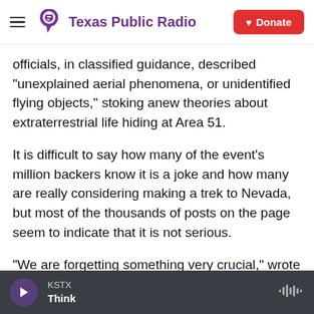Texas Public Radio | Donate
officials, in classified guidance, described "unexplained aerial phenomena, or unidentified flying objects," stoking anew theories about extraterrestrial life hiding at Area 51.
It is difficult to say how many of the event's million backers know it is a joke and how many are really considering making a trek to Nevada, but most of the thousands of posts on the page seem to indicate that it is not serious.
"We are forgetting something very crucial," wrote Nick Prafke. "We need vape lords to create a
KSTX Think